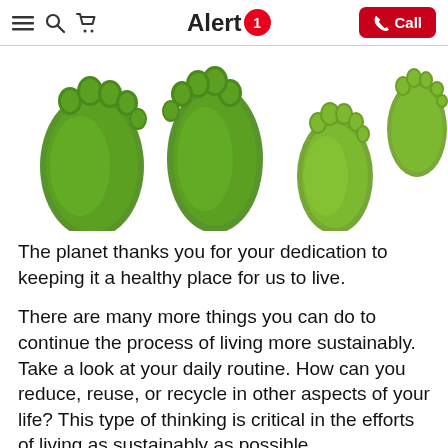Alert 1 [navigation bar with menu, search, cart icons and Call button]
[Figure (illustration): Four green grass-textured footprints (two larger adult footprints on the left, one medium and one smaller footprint on the right) on a white background, representing an eco-friendly carbon footprint concept.]
The planet thanks you for your dedication to keeping it a healthy place for us to live.
There are many more things you can do to continue the process of living more sustainably. Take a look at your daily routine. How can you reduce, reuse, or recycle in other aspects of your life? This type of thinking is critical in the efforts of living as sustainably as possible.